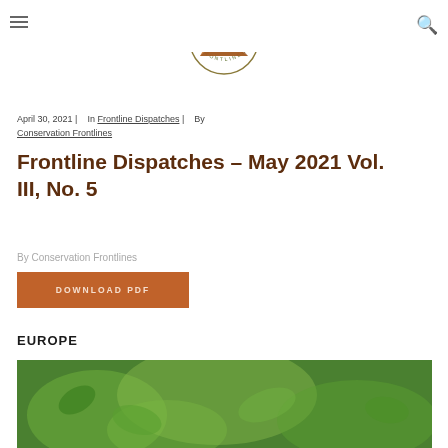[Figure (logo): Conservation Frontlines circular logo with antelope and landscape illustration]
April 30, 2021 |   In Frontline Dispatches |   By Conservation Frontlines
Frontline Dispatches – May 2021 Vol. III, No. 5
By Conservation Frontlines
DOWNLOAD PDF
EUROPE
[Figure (photo): Green foliage / plant photo strip at bottom of page]